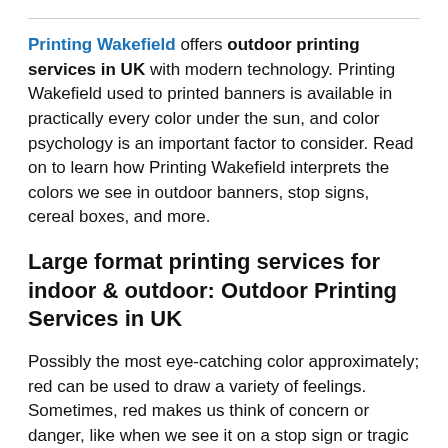Printing Wakefield offers outdoor printing services in UK with modern technology. Printing Wakefield used to printed banners is available in practically every color under the sun, and color psychology is an important factor to consider. Read on to learn how Printing Wakefield interprets the colors we see in outdoor banners, stop signs, cereal boxes, and more.
Large format printing services for indoor & outdoor: Outdoor Printing Services in UK
Possibly the most eye-catching color approximately; red can be used to draw a variety of feelings. Sometimes, red makes us think of concern or danger, like when we see it on a stop sign or tragic exit door. Even the red pen on an evaluation assignment can come off as jarring. At